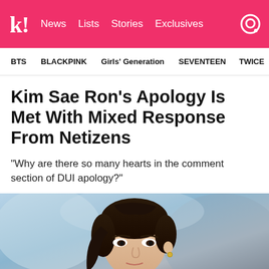k! News Lists Stories Exclusives
BTS   BLACKPINK   Girls' Generation   SEVENTEEN   TWICE
Kim Sae Ron’s Apology Is Met With Mixed Response From Netizens
“Why are there so many hearts in the comment section of DUI apology?”
[Figure (photo): Close-up photo of Kim Sae Ron, a young woman with dark hair, against a blurred outdoor background]